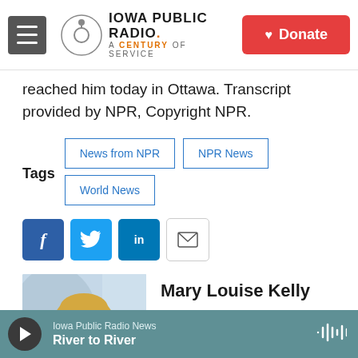Iowa Public Radio — A Century of Service | Donate
reached him today in Ottawa. Transcript provided by NPR, Copyright NPR.
Tags: News from NPR | NPR News | World News
[Figure (infographic): Social sharing icons: Facebook, Twitter, LinkedIn, Email]
[Figure (photo): Headshot photo of Mary Louise Kelly, a blonde woman]
Mary Louise Kelly
Mary Louise Kelly is a co-host of All
Iowa Public Radio News — River to River